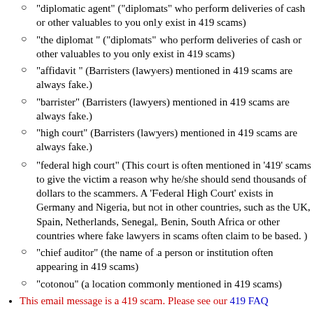"diplomatic agent" ("diplomats" who perform deliveries of cash or other valuables to you only exist in 419 scams)
"the diplomat " ("diplomats" who perform deliveries of cash or other valuables to you only exist in 419 scams)
"affidavit " (Barristers (lawyers) mentioned in 419 scams are always fake.)
"barrister" (Barristers (lawyers) mentioned in 419 scams are always fake.)
"high court" (Barristers (lawyers) mentioned in 419 scams are always fake.)
"federal high court" (This court is often mentioned in '419' scams to give the victim a reason why he/she should send thousands of dollars to the scammers. A 'Federal High Court' exists in Germany and Nigeria, but not in other countries, such as the UK, Spain, Netherlands, Senegal, Benin, South Africa or other countries where fake lawyers in scams often claim to be based. )
"chief auditor" (the name of a person or institution often appearing in 419 scams)
"cotonou" (a location commonly mentioned in 419 scams)
This email message is a 419 scam. Please see our 419 FAQ